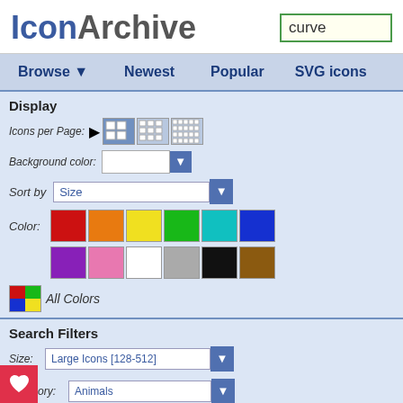[Figure (screenshot): IconArchive website screenshot showing search results for 'curve' with sidebar filters and navigation]
IconArchive | curve
Browse ▼  Newest  Popular  SVG icons
Display
Icons per Page:
Background color:
Sort by  Size
Color:
All Colors
Search Filters
Size:  Large Icons [128-512]
Category:  Animals
e:  All
Results 1-0 of 0 for search term '
Your search for »curve« did no
If you agree to remove the fi
Results 1-0 of 0 for search term '